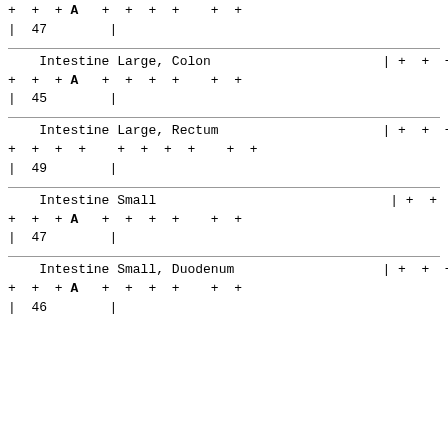| + + + A + + + +  + + | | + + + |
| | 47        | |  |
| Intestine Large, Colon | | + + + |
| + + + A + + + +  + + |  |
| | 45        | |  |
| Intestine Large, Rectum | | + + + |
| + + + +   + + + +  + + |  |
| | 49        | |  |
| Intestine Small | | + + + |
| + + + A + + + +  + + |  |
| | 47        | |  |
| Intestine Small, Duodenum | | + + + |
| + + + A + + + +  + + |  |
| | 46        | |  |